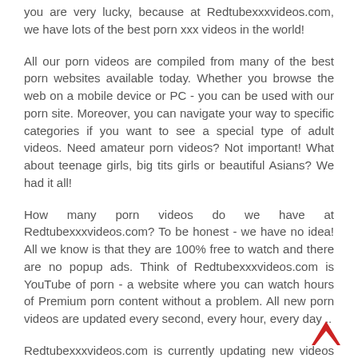you are very lucky, because at Redtubexxxvideos.com, we have lots of the best porn xxx videos in the world!
All our porn videos are compiled from many of the best porn websites available today. Whether you browse the web on a mobile device or PC - you can be used with our porn site. Moreover, you can navigate your way to specific categories if you want to see a special type of adult videos. Need amateur porn videos? Not important! What about teenage girls, big tits girls or beautiful Asians? We had it all!
How many porn videos do we have at Redtubexxxvideos.com? To be honest - we have no idea! All we know is that they are 100% free to watch and there are no popup ads. Think of Redtubexxxvideos.com is YouTube of porn - a website where you can watch hours of Premium porn content without a problem. All new porn videos are updated every second, every hour, every day ..
Redtubexxxvideos.com is currently updating new videos and sex scenes updated daily, so come back if you want to watch new porn. We are the king of amateur, teen, anal and MILF porn videos ...!